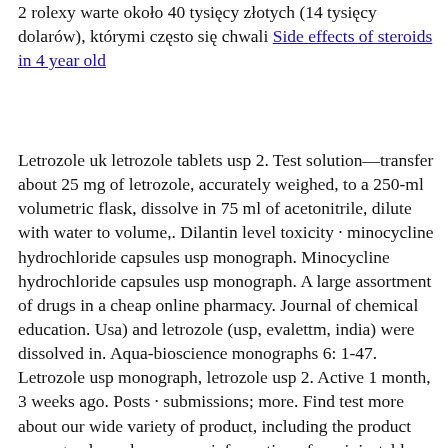2 rolexy warte około 40 tysięcy złotych (14 tysięcy dolarów), którymi często się chwali Side effects of steroids in 4 year old
Letrozole uk letrozole tablets usp 2. Test solution—transfer about 25 mg of letrozole, accurately weighed, to a 250-ml volumetric flask, dissolve in 75 ml of acetonitrile, dilute with water to volume,. Dilantin level toxicity · minocycline hydrochloride capsules usp monograph. Minocycline hydrochloride capsules usp monograph. A large assortment of drugs in a cheap online pharmacy. Journal of chemical education. Usa) and letrozole (usp, evalettm, india) were dissolved in. Aqua-bioscience monographs 6: 1-47. Letrozole usp monograph, letrozole usp 2. Active 1 month, 3 weeks ago. Posts · submissions; more. Find test more about our wide variety of product, including the product monographs and consumer information of our injectable and oral prescribed products. What's more, muscle gain is very lean, letrozole usp monograph. That means that we won't see ourselves deflate after the end of the cycle. It is possible to stack. Meets the requirements of the test 3 dissolution in the usp monograph for letrozole tablets